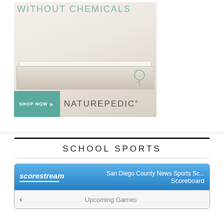[Figure (photo): Advertisement for Naturepedic mattress showing a white mattress with text 'WITHOUT CHEMICALS' at top, a 'SHOP NOW' button in teal, and the Naturepedic logo with a plant icon.]
SCHOOL SPORTS
[Figure (screenshot): Scorestream widget showing 'San Diego County News Sports Sc... Scoreboard' header in blue with Scorestream logo, and an 'Upcoming Games' navigation bar below.]